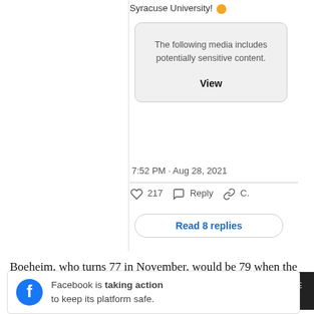Syracuse University! 🟠
[Figure (screenshot): Tweet card showing sensitive media warning box with 'The following media includes potentially sensitive content.' and a 'View' button]
7:52 PM · Aug 28, 2021
♡ 217   💬 Reply   🔗 C.
Read 8 replies
Boeheim, who turns 77 in November, would be 79 when the season begins in 2023-24 and 80 in the 24-25 season. He recently told me for Forbes SportsMoney that he can imagine coaching to 80 or
Facebook is taking action to keep its platform safe.